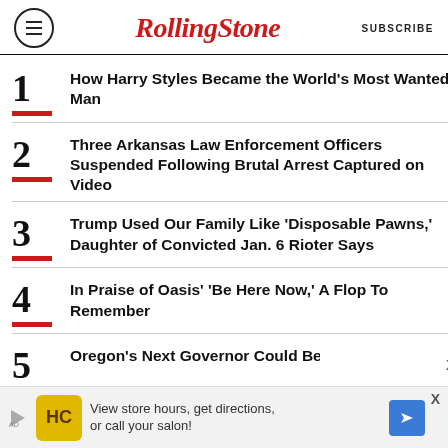RollingStone  SUBSCRIBE
1 How Harry Styles Became the World's Most Wanted Man
2 Three Arkansas Law Enforcement Officers Suspended Following Brutal Arrest Captured on Video
3 Trump Used Our Family Like 'Disposable Pawns,' Daughter of Convicted Jan. 6 Rioter Says
4 In Praise of Oasis' 'Be Here Now,' A Flop To Remember
5 Oregon's Next Governor Could Be a Machine-Gun
View store hours, get directions, or call your salon!